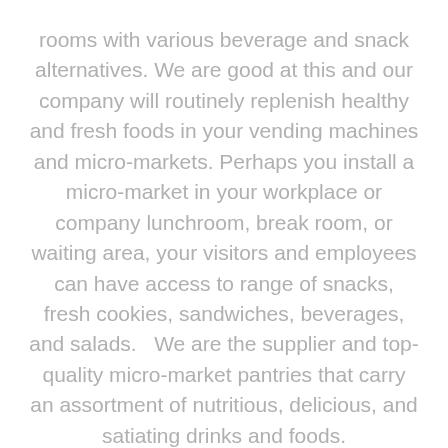rooms with various beverage and snack alternatives. We are good at this and our company will routinely replenish healthy and fresh foods in your vending machines and micro-markets. Perhaps you install a micro-market in your workplace or company lunchroom, break room, or waiting area, your visitors and employees can have access to range of snacks, fresh cookies, sandwiches, beverages, and salads.  We are the supplier and top-quality micro-market pantries that carry an assortment of nutritious, delicious, and satiating drinks and foods. Our outstanding vending program offers a remarkable assortment of Grab-and-Go snacks and Fresh Foods and supports vending pantries in most corporate and commercial settings. Free Vending is one of the most well recognized Vending Machine Companies in Burleson, TX. We will supply your preferred items to